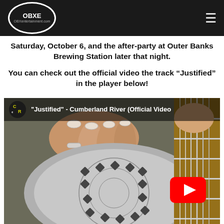OBXE OBXentertainment.com
Saturday, October 6, and the after-party at Outer Banks Brewing Station later that night.
You can check out the official video the track “Justified” in the player below!
[Figure (screenshot): YouTube video thumbnail for 'Justified' - Cumberland River (Official Video), showing close-up of fingers on a resonator guitar with YouTube play button overlay]